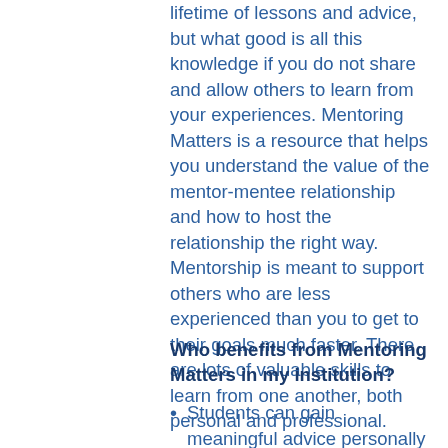lifetime of lessons and advice, but what good is all this knowledge if you do not share and allow others to learn from your experiences. Mentoring Matters is a resource that helps you understand the value of the mentor-mentee relationship and how to host the relationship the right way. Mentorship is meant to support others who are less experienced than you to get to their goals much faster. There are lots of valuable skills to learn from one another, both personal and professional.
Who benefits from Mentoring Matters in my institution?
Students can gain meaningful advice personally and